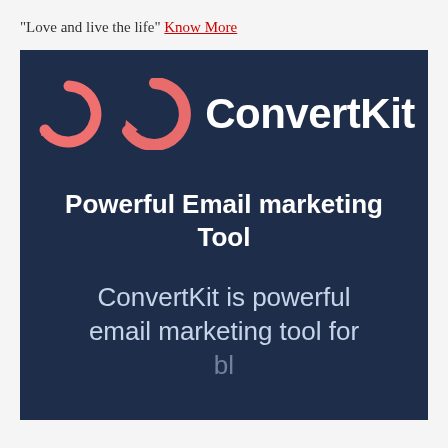“Love and live the life” Know More
[Figure (logo): ConvertKit logo on dark navy background with coral/pink circular arrow icon and white ConvertKit text, with tagline 'Powerful Email marketing Tool' and body text 'ConvertKit is powerful email marketing tool for']